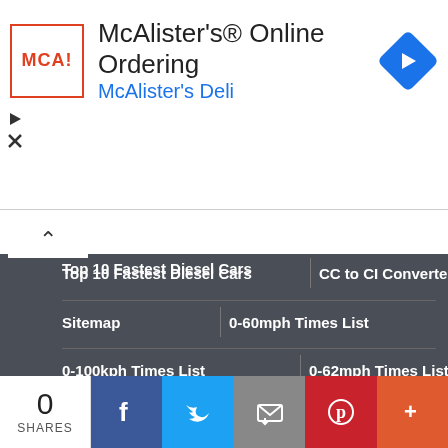[Figure (screenshot): McAlister's Online Ordering advertisement banner with MCA logo, blue arrow icon, title text and McAlister's Deli subtitle]
Top 10 Fastest Diesel Cars
CC to CI Converter
Sitemap
0-60mph Times List
0-100kph Times List
0-62mph Times List
Top Speed List
1/4 Mile Times List
Horsepower List
Torque Per Ton List
Cars by Make List
1/4 Mile Calculator
Car Quiz
Useful Links
0 SHARES | Facebook | Twitter | Email | Pinterest | More